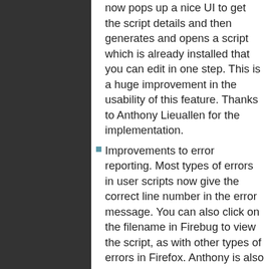now pops up a nice UI to get the script details and then generates and opens a script which is already installed that you can edit in one step. This is a huge improvement in the usability of this feature. Thanks to Anthony Lieuallen for the implementation.
Improvements to error reporting. Most types of errors in user scripts now give the correct line number in the error message. You can also click on the filename in Firebug to view the script, as with other types of errors in Firefox. Anthony is also responsible for this improvement.